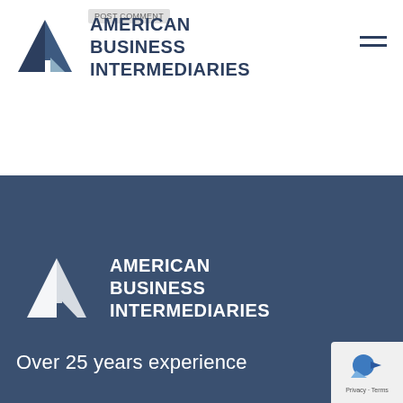[Figure (logo): American Business Intermediaries logo — triangular A shape with dark navy and light blue segments, top header version]
AMERICAN BUSINESS INTERMEDIARIES
[Figure (logo): American Business Intermediaries logo — white triangular A shape on dark blue background, footer version]
AMERICAN BUSINESS INTERMEDIARIES
Over 25 years experience